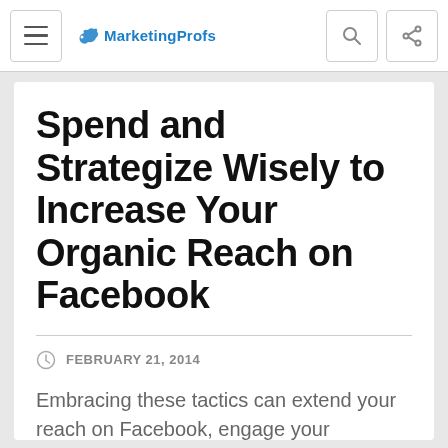MarketingProfs
Spend and Strategize Wisely to Increase Your Organic Reach on Facebook
FEBRUARY 21, 2014
Embracing these tactics can extend your reach on Facebook, engage your audience, and drive revenue from your Facebook marketing--